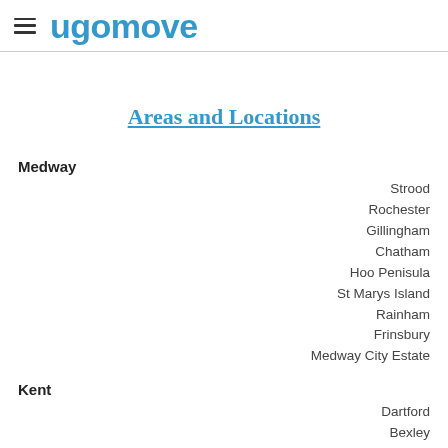ugomove
Areas and Locations
Medway
Strood
Rochester
Gillingham
Chatham
Hoo Penisula
St Marys Island
Rainham
Frinsbury
Medway City Estate
Kent
Dartford
Bexley
Gravesend
Wrotham